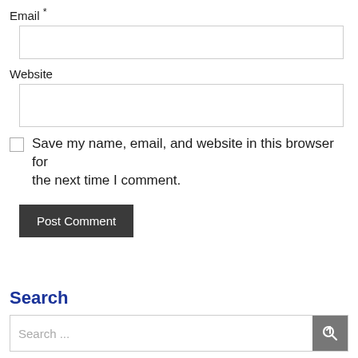Email *
(email input field)
Website
(website input field)
Save my name, email, and website in this browser for the next time I comment.
Post Comment
Search
Search ...